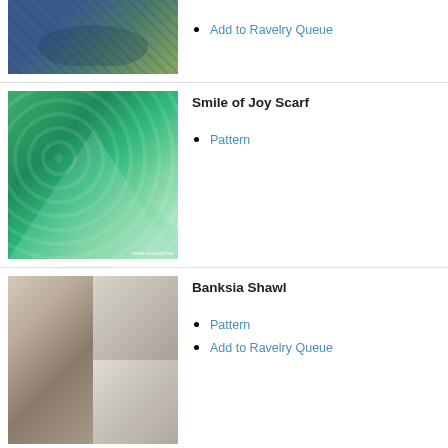[Figure (photo): Person wearing a blue crocheted shawl outdoors]
Add to Ravelry Queue
[Figure (photo): Close-up of green crocheted scarf with bobble texture, watermark www.lookatwhat]
Smile of Joy Scarf
Pattern
[Figure (photo): Collage of four photos of white lace Banksia Shawl]
Banksia Shawl
Pattern
Add to Ravelry Queue